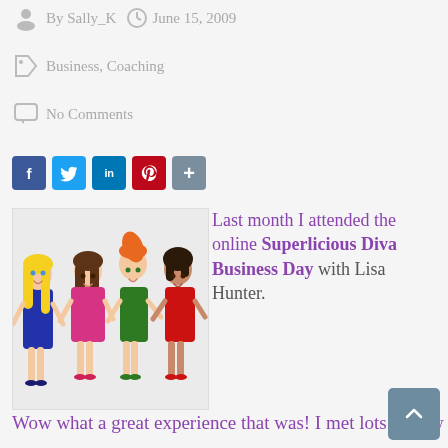By Sally_K  |  June 15, 2009
Business, Coaching
No Comments
[Figure (infographic): Row of five social media sharing buttons: Facebook (blue), Twitter (light blue), LinkedIn (dark blue), Pinterest (red), Share/plus (gray)]
[Figure (illustration): Cartoon illustration of four stylized women standing together: one with long blonde hair in a blue dress, one with brown hair in a pink outfit, one with orange hair in a green outfit, and one with dark bob hair in a red outfit.]
Last month I attended the online Superlicious Diva Business Day with Lisa Hunter. Wow what a great experience that was! I met lots of new